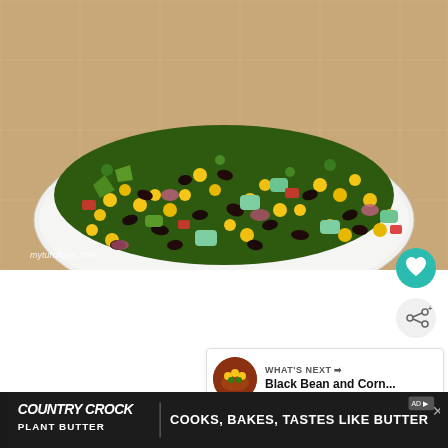[Figure (photo): A white oval plate filled with a colorful black bean and corn salad with avocado, red bell pepper, red onion, corn kernels, and cilantro. Watermark reads 'myturnforus.com'. Photo background is a tiled surface.]
myturnforus.com
WHAT'S NEXT → Black Bean and Corn...
I love summer salads that are easy to assemble an
[Figure (infographic): Country Crock Plant Butter advertisement banner: dark background with white text 'COUNTRY CROCK PLANT BUTTER' logo on left, tagline 'COOKS, BAKES, TASTES LIKE BUTTER' on right. Ad choices badge in top right corner.]